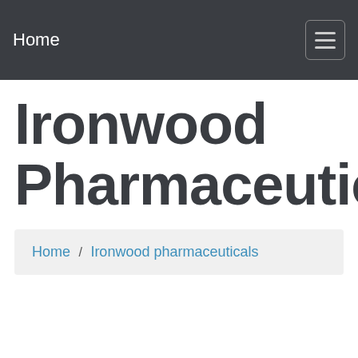Home
Ironwood Pharmaceuticals
Home / Ironwood pharmaceuticals